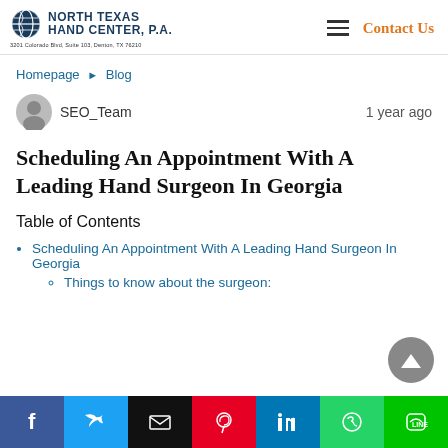North Texas Hand Center, P.A. | 3201 Colorado Blvd, Suite 103, Denton, TX 76210 | Contact Us
Homepage ▶ Blog
SEO_Team | 1 year ago
Scheduling An Appointment With A Leading Hand Surgeon In Georgia
Table of Contents
Scheduling An Appointment With A Leading Hand Surgeon In Georgia
Things to know about the surgeon: